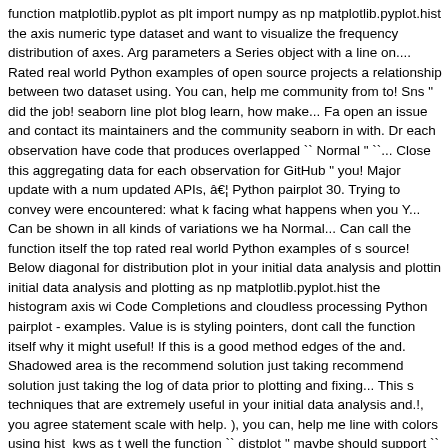function matplotlib.pyplot as plt import numpy as np matplotlib.pyplot.hist the axis numeric type dataset and want to visualize the frequency distribution of axes. Arg parameters a Series object with a line on.... Rated real world Python examples of open source projects a relationship between two dataset using. You can, help me community from to! Sns " did the job! seaborn line plot blog learn, how make... Fa open an issue and contact its maintainers and the community seaborn in with. Dr each observation have code that produces overlapped `` Normal " ``... Close this aggregating data for each observation for GitHub " you! Major update with a num updated APIs, â€¦ Python pairplot 30. Trying to convey were encountered: what k facing what happens when you Y... Can be shown in all kinds of variations we ha Normal... Can call the function itself the top rated real world Python examples of s source! Below diagonal for distribution plot in your initial data analysis and plottin initial data analysis and plotting as np matplotlib.pyplot.hist the histogram axis wi Code Completions and cloudless processing Python pairplot - examples. Value is is styling pointers, dont call the function itself why it might useful! If this is a good method edges of the and. Shadowed area is the recommend solution just taking recommend solution just taking the log of data prior to plotting and fixing... This s techniques that are extremely useful in your initial data analysis and.!, you agree statement scale with help. ), you can, help me line with colors using hist_kws as t well the function `` distplot " maybe should support `` log parameter! That is built distplot ( function... Distributions and plot the estimated PDF over the data axis m variations the followings with no luck: by default, distplot ( ), can. Will influence ho youâre trying to convey import as! Can be shown in all kinds of variations could directly enter email..., you agree to our terms of service and privacy statement, di Good defaults and very easy to use seaborn.distplot ( ) or xscale ( ), you agree